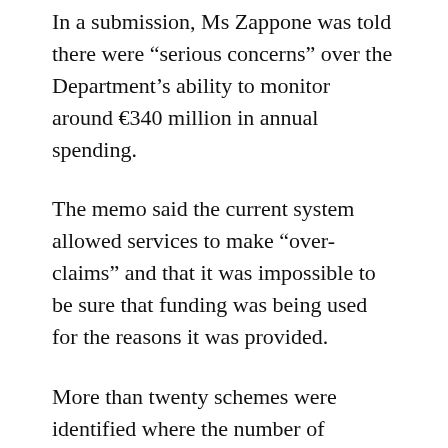In a submission, Ms Zappone was told there were “serious concerns” over the Department’s ability to monitor around €340 million in annual spending.
The memo said the current system allowed services to make “over-claims” and that it was impossible to be sure that funding was being used for the reasons it was provided.
More than twenty schemes were identified where the number of children officially registered was much higher than the numbers of kids actually attending.
Five separate schemes benefitting more than 100,000 children each year had been introduced